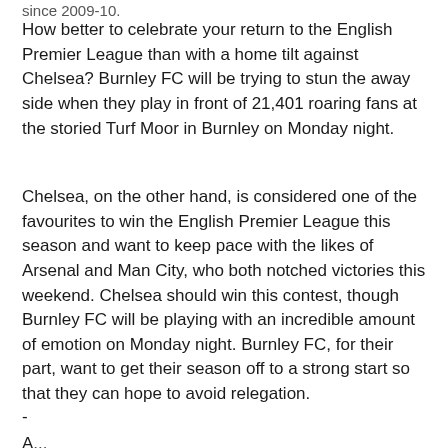since 2009-10.
How better to celebrate your return to the English Premier League than with a home tilt against Chelsea? Burnley FC will be trying to stun the away side when they play in front of 21,401 roaring fans at the storied Turf Moor in Burnley on Monday night.
Chelsea, on the other hand, is considered one of the favourites to win the English Premier League this season and want to keep pace with the likes of Arsenal and Man City, who both notched victories this weekend. Chelsea should win this contest, though Burnley FC will be playing with an incredible amount of emotion on Monday night. Burnley FC, for their part, want to get their season off to a strong start so that they can hope to avoid relegation.
-
A...